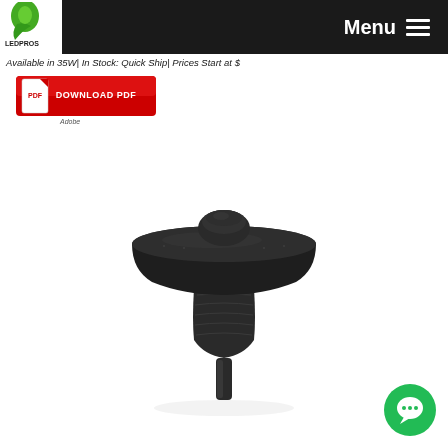[Figure (logo): LED Pros logo - green leaf bulb with LED PROS text on white background]
Menu ☰
Available in 35W| In Stock: Quick Ship| Prices Start at $
[Figure (other): Red Download PDF button with PDF icon and Adobe logo]
[Figure (photo): Black mushroom/bollard style LED light fixture with disc shaped top and tapered post base, shown on white background]
[Figure (other): Green circular chat bubble icon in bottom right corner]